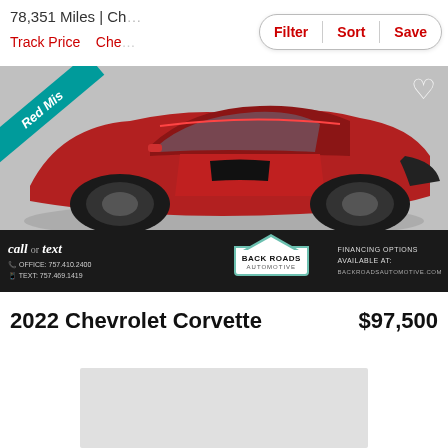78,351 Miles | Ch...
Track Price   Che...
Filter   Sort   Save
[Figure (photo): Red 2022 Chevrolet Corvette sports car photographed in a dealer showroom, with teal 'Red Mis...' ribbon badge in upper-left corner, heart icon upper-right, and dealer banner at bottom reading 'call or text', 'BACK ROADS AUTOMOTIVE', office/text phone numbers, and 'FINANCING OPTIONS AVAILABLE AT: backroadsautomotive.com']
2022 Chevrolet Corvette
$97,500
[Figure (photo): Partially visible second car listing image (gray/light background, mostly clipped)]